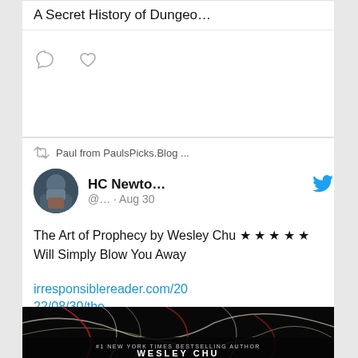A Secret History of Dungeo…
[Figure (screenshot): Social media action icons: speech bubble (comment) and heart (like)]
Paul from PaulsPicks.Blog ... retweeted
HC Newto... @… · Aug 30
The Art of Prophecy by Wesley Chu ★ ★ ★ ★ ★ Will Simply Blow You Away
irresponsiblereader.com/2022/08/30/the…
[Figure (photo): Book cover of 'The Art of Prophecy' by Wesley Chu — dark background with illustrated figure and white text '#1 New York Times Bestselling Author Wesley Chu']